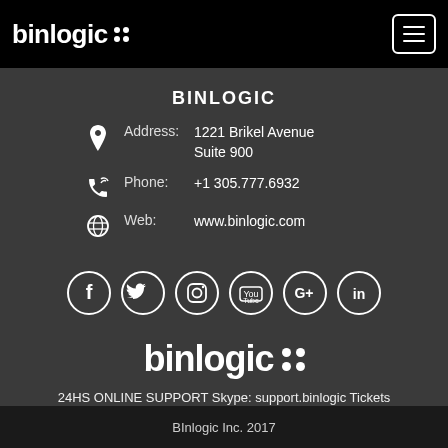binlogic
BINLOGIC
Address: 1221 Brikel Avenue Suite 900
Phone: +1 305.777.6932
Web: www.binlogic.com
[Figure (logo): Social media icons: Facebook, Twitter, Instagram, YouTube, Google+, LinkedIn]
[Figure (logo): binlogic logo large with dot grid]
24HS ONLINE SUPPORT Skype: support.binlogic Tickets
Support On Line Tickets
BInlogic Inc. 2017